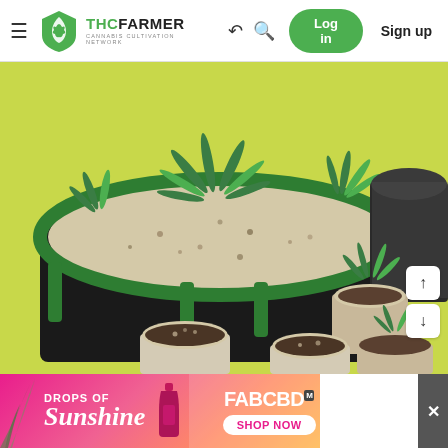THCFarmer - Cannabis Cultivation Network - Log in - Sign up
[Figure (photo): Cannabis plants growing in a large black fabric pot filled with perlite/soil mix on a yellow surface, with several small seedling cups nearby]
[Figure (photo): Advertisement banner for FABCBD - Drops of Sunshine - Shop Now]